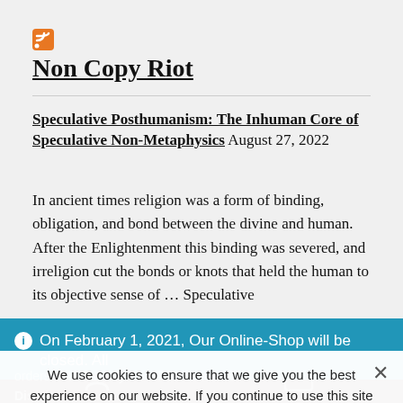[Figure (logo): RSS feed icon, orange square with white radio waves]
Non Copy Riot
Speculative Posthumanism: The Inhuman Core of Speculative Non-Metaphysics
August 27, 2022
In ancient times religion was a form of binding, obligation, and bond between the divine and human. After the Enlightenment this binding was severed, and irreligion cut the bonds or knots that held the human to its objective sense of … Speculative
On February 1, 2021, Our Online-Shop will be closed. All orders until January 31 will be delivered
Dismiss
We use cookies to ensure that we give you the best experience on our website. If you continue to use this site we will assume that you are happy with it.